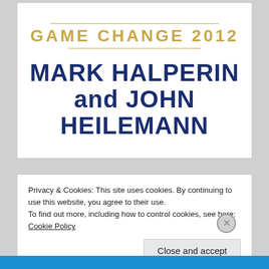[Figure (illustration): Book cover image area for 'Game Change 2012' by Mark Halperin and John Heilemann, showing the title in gold lettering and authors' names in large dark navy bold text, with decorative gold horizontal lines.]
Privacy & Cookies: This site uses cookies. By continuing to use this website, you agree to their use.
To find out more, including how to control cookies, see here: Cookie Policy